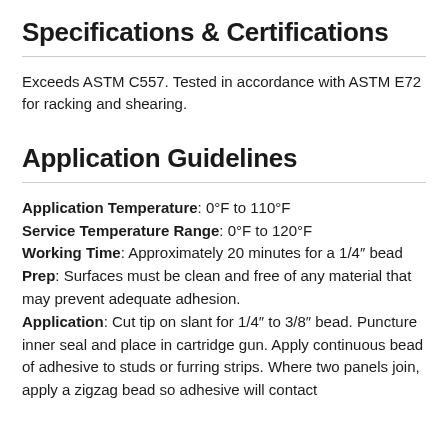Specifications & Certifications
Exceeds ASTM C557. Tested in accordance with ASTM E72 for racking and shearing.
Application Guidelines
Application Temperature: 0°F to 110°F
Service Temperature Range: 0°F to 120°F
Working Time: Approximately 20 minutes for a 1/4″ bead
Prep: Surfaces must be clean and free of any material that may prevent adequate adhesion.
Application: Cut tip on slant for 1/4″ to 3/8″ bead. Puncture inner seal and place in cartridge gun. Apply continuous bead of adhesive to studs or furring strips. Where two panels join, apply a zigzag bead so adhesive will contact